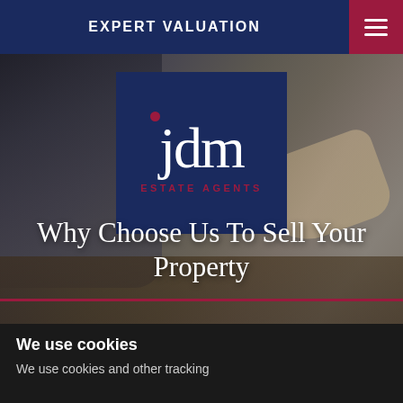EXPERT VALUATION
[Figure (logo): JDM Estate Agents logo — dark navy square with red dot above lowercase 'jdm' in white serif font and 'ESTATE AGENTS' in red below]
Why Choose Us To Sell Your Property
We use cookies
We use cookies and other tracking